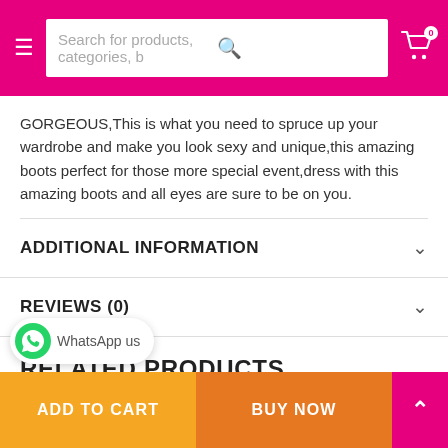Search for products, categories, b
GORGEOUS,This is what you need to spruce up your wardrobe and make you look sexy and unique,this amazing boots perfect for those more special event,dress with this amazing boots and all eyes are sure to be on you.
ADDITIONAL INFORMATION
REVIEWS (0)
RELATED PRODUCTS
ADD TO CART   BUY NOW